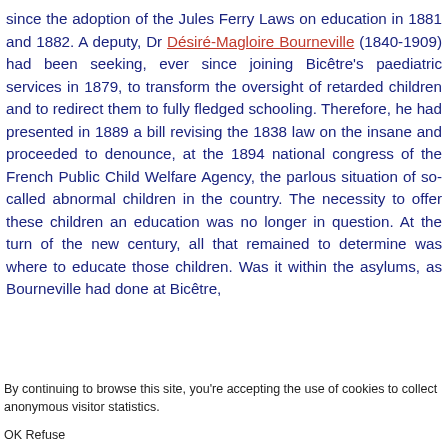since the adoption of the Jules Ferry Laws on education in 1881 and 1882. A deputy, Dr Désiré-Magloire Bourneville (1840-1909) had been seeking, ever since joining Bicêtre's paediatric services in 1879, to transform the oversight of retarded children and to redirect them to fully fledged schooling. Therefore, he had presented in 1889 a bill revising the 1838 law on the insane and proceeded to denounce, at the 1894 national congress of the French Public Child Welfare Agency, the parlous situation of so-called abnormal children in the country. The necessity to offer these children an education was no longer in question. At the turn of the new century, all that remained to determine was where to educate those children. Was it within the asylums, as Bourneville had done at Bicêtre,
By continuing to browse this site, you're accepting the use of cookies to collect anonymous visitor statistics.
OK Refuse